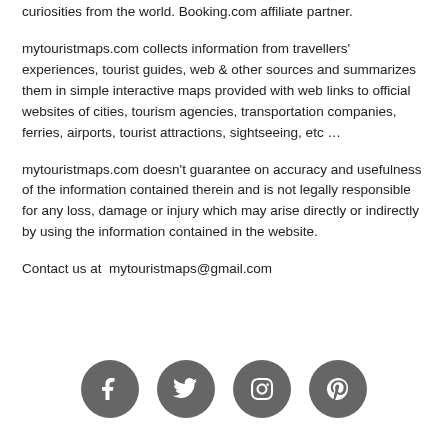curiosities from the world. Booking.com affiliate partner.
mytouristmaps.com collects information from travellers' experiences, tourist guides, web & other sources and summarizes them in simple interactive maps provided with web links to official websites of cities, tourism agencies, transportation companies, ferries, airports, tourist attractions, sightseeing, etc …
mytouristmaps.com doesn't guarantee on accuracy and usefulness of the information contained therein and is not legally responsible for any loss, damage or injury which may arise directly or indirectly by using the information contained in the website.
Contact us at  mytouristmaps@gmail.com
[Figure (infographic): Social media icons: Facebook, Twitter, Instagram, Pinterest — grey circular buttons]